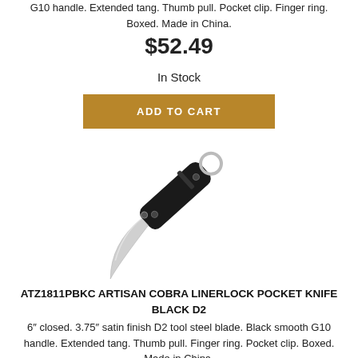G10 handle. Extended tang. Thumb pull. Pocket clip. Finger ring. Boxed. Made in China.
$52.49
In Stock
ADD TO CART
[Figure (photo): A folding pocket knife with a curved black G10 handle, satin finish D2 steel blade, and a finger ring at the end, photographed on a white background.]
ATZ1811PBKC ARTISAN COBRA LINERLOCK POCKET KNIFE BLACK D2
6″ closed. 3.75″ satin finish D2 tool steel blade. Black smooth G10 handle. Extended tang. Thumb pull. Finger ring. Pocket clip. Boxed. Made in China.